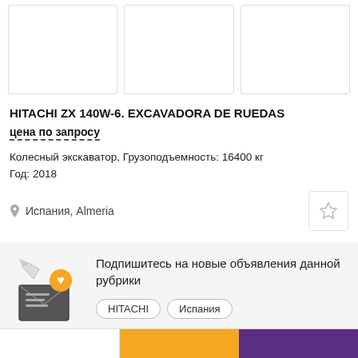[Figure (photo): Three image placeholder boxes arranged horizontally showing product images]
HITACHI ZX 140W-6. EXCAVADORA DE RUEDAS
цена по запросу
Колесный экскаватор, Грузоподъемность: 16400 кг
Год: 2018
Испания, Almeria
Подпишитесь на новые объявления данной рубрики
HITACHI   Испания